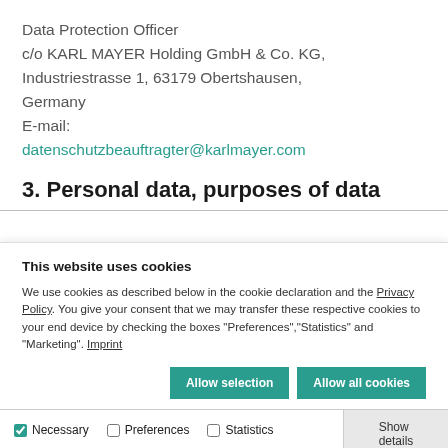Data Protection Officer
c/o KARL MAYER Holding GmbH & Co. KG,
Industriestrasse 1, 63179 Obertshausen,
Germany
E-mail:
datenschutzbeauftragter@karlmayer.com
3. Personal data, purposes of data
This website uses cookies
We use cookies as described below in the cookie declaration and the Privacy Policy. You give your consent that we may transfer these respective cookies to your end device by checking the boxes "Preferences","Statistics" and "Marketing". Imprint
Allow selection | Allow all cookies
Necessary  Preferences  Statistics  Marketing  Show details